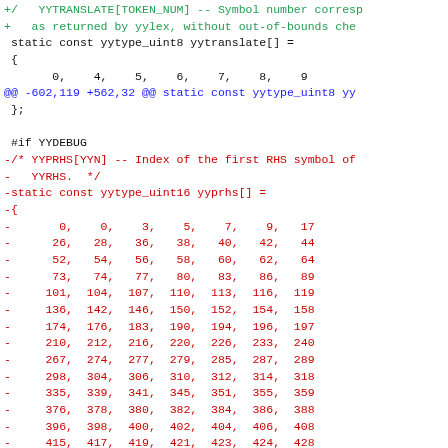Code diff showing C source file changes including yytranslate, yyprhs arrays and YYDEBUG preprocessor block